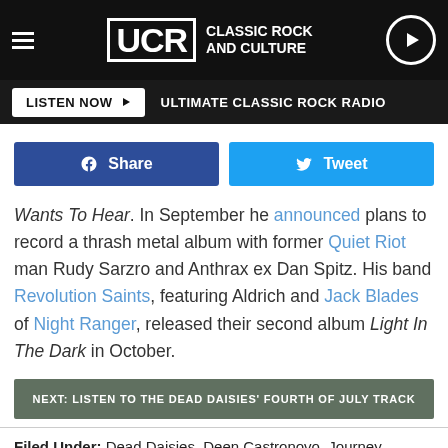UCR CLASSIC ROCK AND CULTURE
LISTEN NOW  ULTIMATE CLASSIC ROCK RADIO
Share  Tweet
Wants To Hear. In September he announced plans to record a thrash metal album with former Quiet Riot man Rudy Sarzro and Anthrax ex Dan Spitz. His band Revolution Saints, featuring Aldrich and Jack Blades of Night Ranger, released their second album Light In The Dark in October.
NEXT: LISTEN TO THE DEAD DAISIES' FOURTH OF JULY TRACK
Filed Under: Dead Daisies, Deen Castronovo, Journey
Categories: News